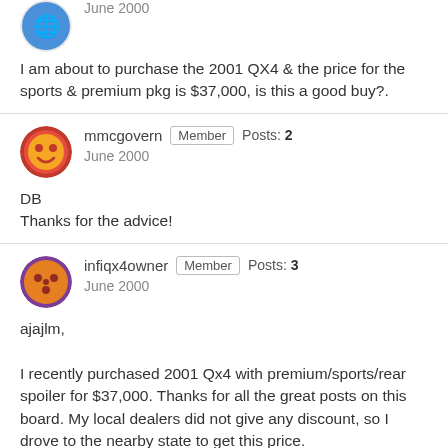[Figure (illustration): User avatar - blue circular avatar (partially visible at top)]
June 2000
I am about to purchase the 2001 QX4 & the price for the sports & premium pkg is $37,000, is this a good buy?.
[Figure (illustration): User avatar - red/orange smiley face circular avatar for mmcgovern]
mmcgovern   Member   Posts: 2
June 2000
DB
Thanks for the advice!
[Figure (illustration): User avatar - orange circular avatar with dots for infiqx4owner]
infiqx4owner   Member   Posts: 3
June 2000
ajajlm,

I recently purchased 2001 Qx4 with premium/sports/rear spoiler for $37,000. Thanks for all the great posts on this board. My local dealers did not give any discount, so I drove to the nearby state to get this price.